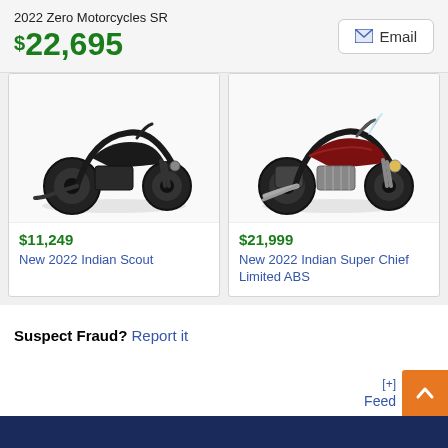2022 Zero Motorcycles SR
$22,695
[Figure (screenshot): Email button with envelope icon]
[Figure (photo): Black 2022 Indian Scout motorcycle on white background]
$11,249
New 2022 Indian Scout
[Figure (photo): Dark red/maroon 2022 Indian Super Chief Limited ABS motorcycle on white background]
$21,999
New 2022 Indian Super Chief Limited ABS
Suspect Fraud? Report it
[+]
Feed